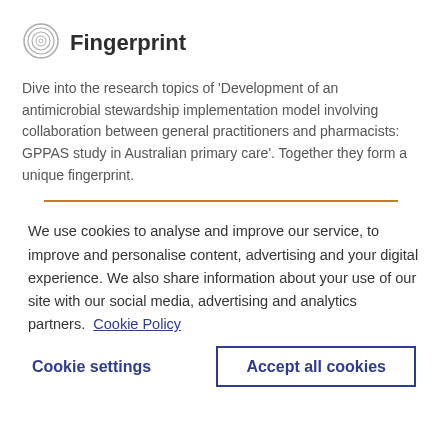Fingerprint
Dive into the research topics of 'Development of an antimicrobial stewardship implementation model involving collaboration between general practitioners and pharmacists: GPPAS study in Australian primary care'. Together they form a unique fingerprint.
We use cookies to analyse and improve our service, to improve and personalise content, advertising and your digital experience. We also share information about your use of our site with our social media, advertising and analytics partners.  Cookie Policy
Cookie settings
Accept all cookies